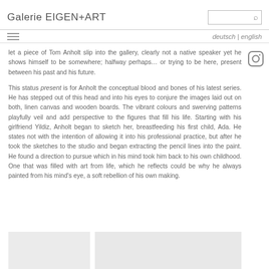Galerie EIGEN+ART
let a piece of Tom Anholt slip into the gallery, clearly not a native speaker yet he shows himself to be somewhere; halfway perhaps… or trying to be here, present between his past and his future.
This status present is for Anholt the conceptual blood and bones of his latest series. He has stepped out of this head and into his eyes to conjure the images laid out on both, linen canvas and wooden boards. The vibrant colours and swerving patterns playfully veil and add perspective to the figures that fill his life. Starting with his girlfriend Yildiz, Anholt began to sketch her, breastfeeding his first child, Ada. He states not with the intention of allowing it into his professional practice, but after he took the sketches to the studio and began extracting the pencil lines into the paint. He found a direction to pursue which in his mind took him back to his own childhood. One that was filled with art from life, which he reflects could be why he always painted from his mind's eye, a soft rebellion of his own making.
[Figure (photo): Two image placeholders at the bottom of the page, light grey background.]